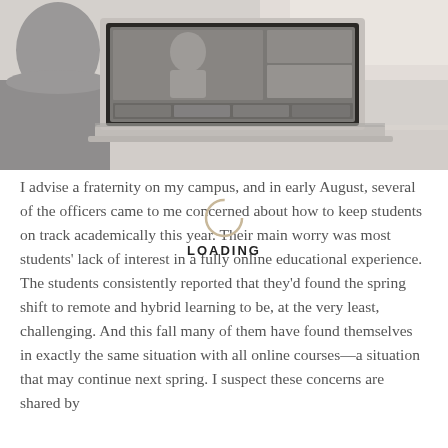[Figure (photo): A person viewed from behind using a laptop showing a video conference with multiple participants on screen, placed on a white desk in a bright room.]
I advise a fraternity on my campus, and in early August, several of the officers came to me concerned about how to keep students on track academically this year. Their main worry was most students' lack of interest in a fully online educational experience. The students consistently reported that they'd found the spring shift to remote and hybrid learning to be, at the very least, challenging. And this fall many of them have found themselves in exactly the same situation with all online courses—a situation that may continue next spring. I suspect these concerns are shared by